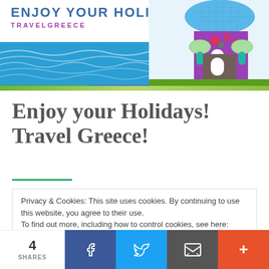[Figure (illustration): Website header banner for Enjoy Your Holidays TravelGreece showing logo text, blue wavy sea background, and a decorative illustration of a Greek Orthodox church dome on the right side with colorful mosaic-style patterns]
Enjoy your Holidays! Travel Greece!
Privacy & Cookies: This site uses cookies. By continuing to use this website, you agree to their use.
To find out more, including how to control cookies, see here: Cookie Policy
4 SHARES  [Facebook] [Twitter] [Email] [More]